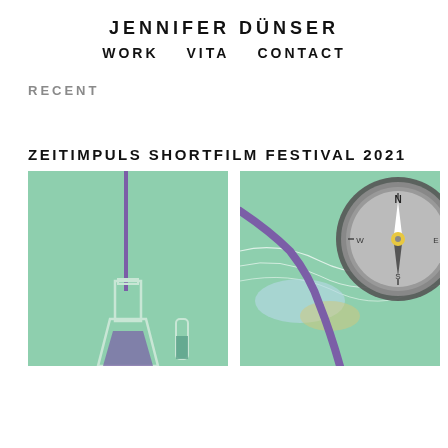JENNIFER DÜNSER
WORK   VITA   CONTACT
RECENT
ZEITIMPULS SHORTFILM FESTIVAL 2021
[Figure (illustration): Illustration of laboratory glassware (Erlenmeyer flask and test tubes) on a mint/sage green background with a purple vertical line]
[Figure (illustration): Illustration of a compass overlaid on a stylized map with a purple river/path on a mint/sage green background]